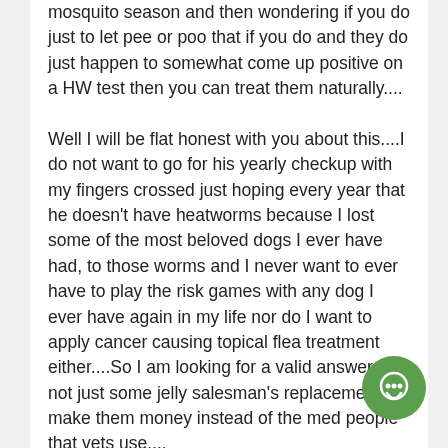mosquito season and then wondering if you do just to let pee or poo that if you do and they do just happen to somewhat come up positive on a HW test then you can treat them naturally....
Well I will be flat honest with you about this....I do not want to go for his yearly checkup with my fingers crossed just hoping every year that he doesn't have heatworms because I lost some of the most beloved dogs I ever have had, to those worms and I never want to ever have to play the risk games with any dog I ever have again in my life nor do I want to apply cancer causing topical flea treatment either....So I am looking for a valid answer and not just some jelly salesman's replacement to make them money instead of the med people that vets use....
Do I think vets peddle drugs for the suppliers?